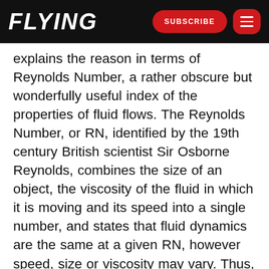FLYING | SUBSCRIBE
explains the reason in terms of Reynolds Number, a rather obscure but wonderfully useful index of the properties of fluid flows. The Reynolds Number, or RN, identified by the 19th century British scientist Sir Osborne Reynolds, combines the size of an object, the viscosity of the fluid in which it is moving and its speed into a single number, and states that fluid dynamics are the same at a given RN, however speed, size or viscosity may vary. Thus, air feels like motor oil to a gnat, and sea water feels like air to a whale?or